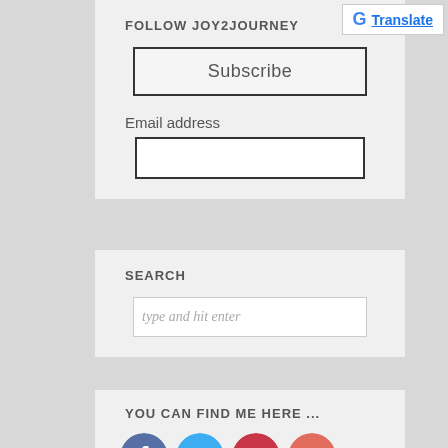[Figure (logo): Google Translate button with G logo in top right corner]
FOLLOW JOY2JOURNEY
Subscribe
Email address
SEARCH
type and hit enter
YOU CAN FIND ME HERE ...
[Figure (illustration): Social media icons: Facebook, Twitter, Pinterest, Google+]